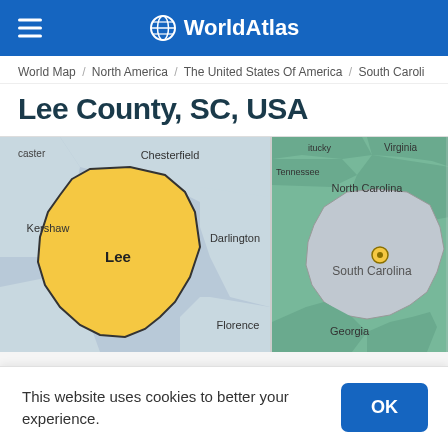WorldAtlas
World Map / North America / The United States Of America / South Caroli
Lee County, SC, USA
[Figure (map): Close-up county map showing Lee County highlighted in orange/yellow, surrounded by Chesterfield, Darlington, Florence, Kershaw, and Lancaster counties in South Carolina]
[Figure (map): Regional overview map showing South Carolina (in grey) highlighted within the southeastern United States, with surrounding states Kentucky, Virginia, Tennessee, North Carolina, and Georgia shown in green. A yellow marker pin indicates Lee County's location.]
This website uses cookies to better your experience.